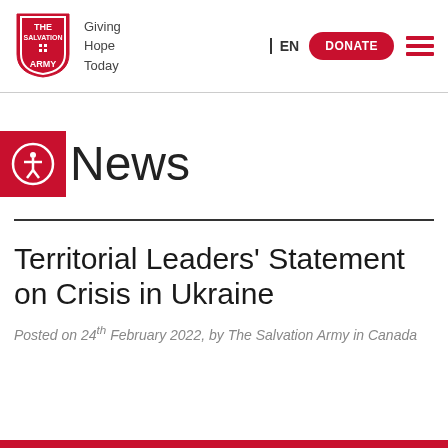[Figure (logo): The Salvation Army shield logo in red with white text]
Giving Hope Today
EN
DONATE
News
Territorial Leaders' Statement on Crisis in Ukraine
Posted on 24th February 2022, by The Salvation Army in Canada